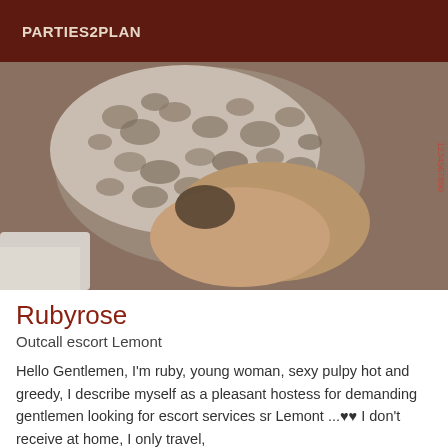PARTIES2PLAN
[Figure (photo): Close-up photo of a person wearing leopard print shorts]
Rubyrose
Outcall escort Lemont
Hello Gentlemen, I'm ruby, young woman, sexy pulpy hot and greedy, I describe myself as a pleasant hostess for demanding gentlemen looking for escort services sr Lemont ...♥♥ I don't receive at home, I only travel,